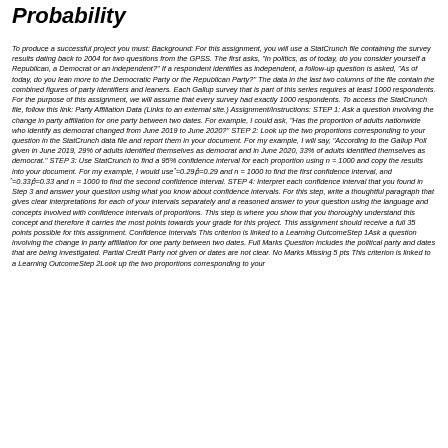Probability
To produce a successful project you must: Background: For this assignment, you will use a StatCrunch file containing the survey results dating back to 2004 for two questions from the GPSS. The first asks, "In politics, as of today, do you consider yourself a Republican, a Democrat or an independent?" If a respondent identifies as independent, a follow-up question is asked, "As of today, do you lean more to the Democratic Party or the Republican Party?" The data in the last two columns of the file contain the combined figures of party identifiers and leaners. Each Gallup survey that is part of this series requires at least 1000 respondents. For the purpose of this assignment, we will assume that every survey had exactly 1000 respondents. To access the StatCrunch file, follow this link: Party Affiliation Data (Links to an external site.) Assignment/Instructions: STEP 1: Ask a question involving the change in party affiliation for one party between two dates. For example, I could ask, "Has the proportion of adults nationwide who identify as democrat changed from June 2019 to June 2020?" STEP 2: Look up the two proportions corresponding to your question in the StatCrunch data file and report them in your document. For my example, I will say, "According to the Gallup Poll given in June 2019, 29% of adults identified themselves as democrat and in June 2020, 33% of adults identified themselves as democrat." STEP 3: Use StatCrunch to find a 95% confidence interval for each proportion using n = 1000 and copy the results into your document. For my example, I would use ^=0.29p^=0.29 and n = 1000 to find the first confidence interval, and ^=0.33p^=0.33 and n = 1000 to find the second confidence interval. STEP 4: Interpret each confidence interval that you found in Step 3 and answer your question using what you know about confidence intervals. For this step, write a thoughtful paragraph that gives clear interpretations for each of your intervals separately and a reasoned answer to your question using the language and concepts involved with confidence intervals of proportions. This step is where you show that you thoroughly understand this concept and therefore it carries the most points towards your grade for this project. This assignment should receive a full 35 points possible for this assignment. Confidence Intervals This criterion is linked to a Learning OutcomeStep 1Ask a question involving the change in party affiliation for one party between two dates. Full Marks Question includes the political party and dates that are being investigated. Partial Credit Party not given or dates are not clear. No Marks Missing 5 pts This criterion is linked to a Learning OutcomeStep 2Look up the two proportions corresponding to your